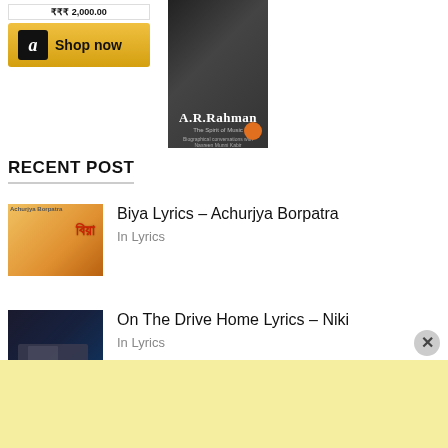[Figure (screenshot): Amazon 'Shop now' button with amazon logo icon and golden background]
[Figure (photo): Book cover of A.R. Rahman - The Spirit of Music, biographical conversations with Nasreen Munni Kabir]
RECENT POST
[Figure (photo): Thumbnail for Biya Lyrics - Achurjya Borpatra, showing scooter scene with Bengali text]
Biya Lyrics – Achurjya Borpatra
In Lyrics
[Figure (photo): Thumbnail for On The Drive Home Lyrics - Niki, dark scene]
On The Drive Home Lyrics – Niki
In Lyrics
[Figure (screenshot): Yellow advertisement banner at the bottom of the page]